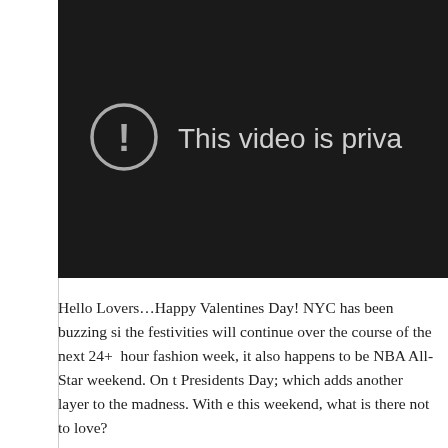[Figure (screenshot): A dark video player placeholder showing a circle with exclamation mark icon and the text 'This video is priv' (cut off). Background is near-black.]
Hello Lovers…Happy Valentines Day! NYC has been buzzing si the festivities will continue over the course of the next 24+  hour fashion week, it also happens to be NBA All-Star weekend. On t Presidents Day; which adds another layer to the madness. With e this weekend, what is there not to love?